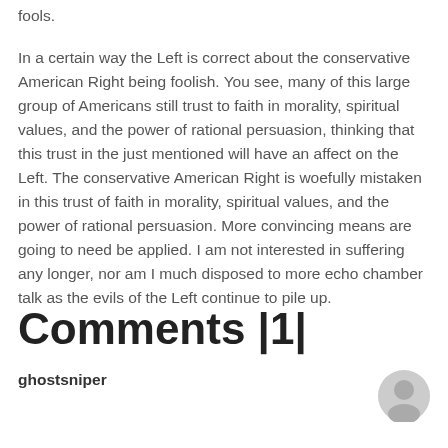fools.
In a certain way the Left is correct about the conservative American Right being foolish. You see, many of this large group of Americans still trust to faith in morality, spiritual values, and the power of rational persuasion, thinking that this trust in the just mentioned will have an affect on the Left. The conservative American Right is woefully mistaken in this trust of faith in morality, spiritual values, and the power of rational persuasion. More convincing means are going to need be applied. I am not interested in suffering any longer, nor am I much disposed to more echo chamber talk as the evils of the Left continue to pile up.
Comments |1|
ghostsniper